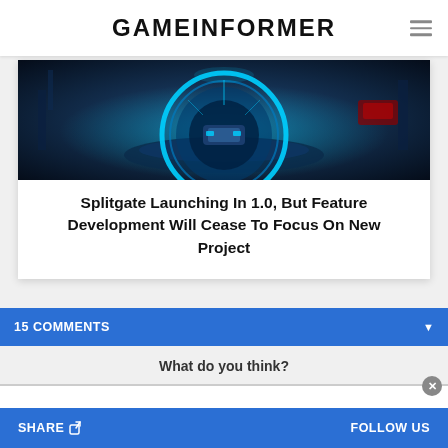GAMEINFORMER
[Figure (screenshot): Screenshot from Splitgate game showing futuristic arena environment with portal rings and sci-fi vehicles]
Splitgate Launching In 1.0, But Feature Development Will Cease To Focus On New Project
15 COMMENTS
What do you think?
SHARE   FOLLOW US